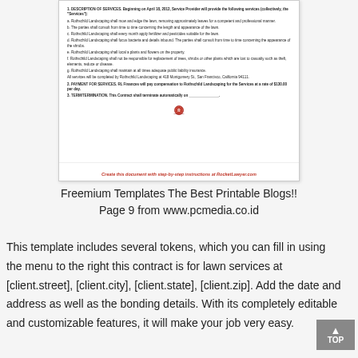[Figure (screenshot): Screenshot of a lawn services contract template from RocketLawyer.com showing sections: Description of Services, Payment for Services, Term/Termination, with the RocketLawyer logo and a red italic call-to-action footer.]
Freemium Templates The Best Printable Blogs!!
Page 9 from www.pcmedia.co.id
This template includes several tokens, which you can fill in using the menu to the right this contract is for lawn services at [client.street], [client.city], [client.state], [client.zip]. Add the date and address as well as the bonding details. With its completely editable and customizable features, it will make your job very easy.